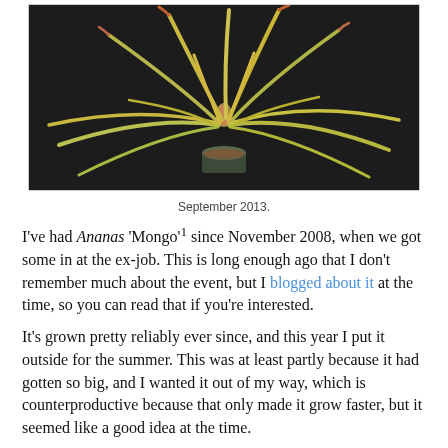[Figure (photo): A large pineapple-like plant (Ananas 'Mongo') with long arching yellow-green leaves tinged with orange-red, growing in a small dark pot. Background is dark/black fabric.]
September 2013.
I've had Ananas 'Mongo'¹ since November 2008, when we got some in at the ex-job. This is long enough ago that I don't remember much about the event, but I blogged about it at the time, so you can read that if you're interested.
It's grown pretty reliably ever since, and this year I put it outside for the summer. This was at least partly because it had gotten so big, and I wanted it out of my way, which is counterproductive because that only made it grow faster, but it seemed like a good idea at the time.